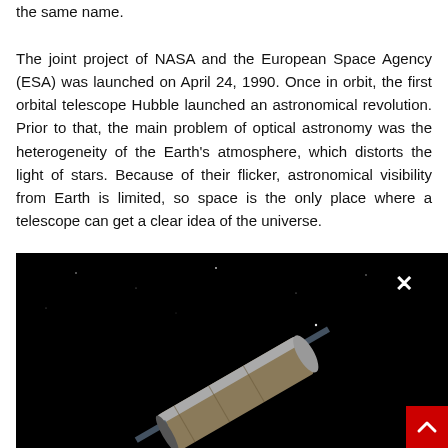the same name. The joint project of NASA and the European Space Agency (ESA) was launched on April 24, 1990. Once in orbit, the first orbital telescope Hubble launched an astronomical revolution. Prior to that, the main problem of optical astronomy was the heterogeneity of the Earth's atmosphere, which distorts the light of stars. Because of their flicker, astronomical visibility from Earth is limited, so space is the only place where a telescope can get a clear idea of the universe.
[Figure (photo): Photo of the Hubble Space Telescope against a black space background, with a white X close button in the upper right and a red back-to-top arrow button in the lower right corner.]